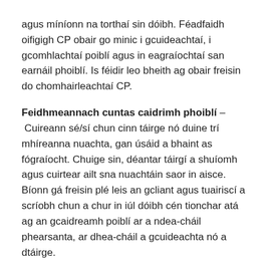agus míníonn na torthaí sin dóibh. Féadfaidh oifigigh CP obair go minic i gcuideachtaí, i gcomhlachtaí poiblí agus in eagraíochtaí san earnáil phoiblí. Is féidir leo bheith ag obair freisin do chomhairleachtaí CP.
Feidhmeannach cuntas caidrimh phoiblí –
Cuireann sé/sí chun cinn táirge nó duine trí mhíreanna nuachta, gan úsáid a bhaint as fógraíocht. Chuige sin, déantar táirgí a shuíomh agus cuirtear ailt sna nuachtáin saor in aisce. Bíonn gá freisin plé leis an gcliant agus tuairiscí a scríobh chun a chur in iúl dóibh cén tionchar atá ag an gcaidreamh poiblí ar a ndea-cháil phearsanta, ar dhea-cháil a gcuideachta nó a dtáirge.